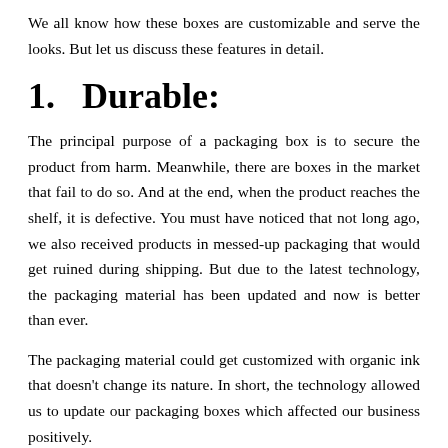We all know how these boxes are customizable and serve the looks. But let us discuss these features in detail.
1.  Durable:
The principal purpose of a packaging box is to secure the product from harm. Meanwhile, there are boxes in the market that fail to do so. And at the end, when the product reaches the shelf, it is defective. You must have noticed that not long ago, we also received products in messed-up packaging that would get ruined during shipping. But due to the latest technology, the packaging material has been updated and now is better than ever.
The packaging material could get customized with organic ink that doesn't change its nature. In short, the technology allowed us to update our packaging boxes which affected our business positively.